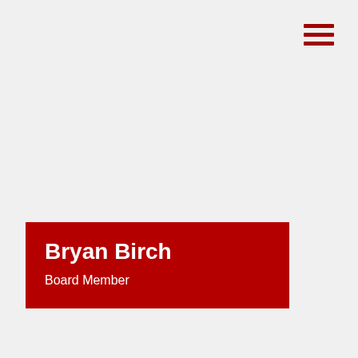[Figure (illustration): Hamburger menu icon consisting of three dark red horizontal bars, positioned in the top-right corner of the page]
Bryan Birch
Board Member